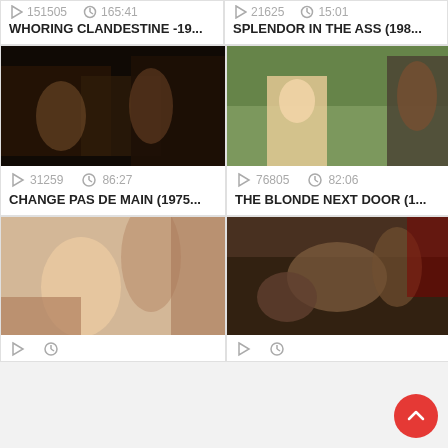151505   165:41
21625   15:01
WHORING CLANDESTINE -19...
SPLENDOR IN THE ASS (198...
[Figure (photo): Dark scene with people, appears to be a movie still]
[Figure (photo): Outdoor scene with blonde woman, movie still]
31259   86:27
76805   82:06
CHANGE PAS DE MAIN (1975...
THE BLONDE NEXT DOOR (1...
[Figure (photo): Movie still with two people]
[Figure (photo): Movie still, dark toned scene with multiple people]